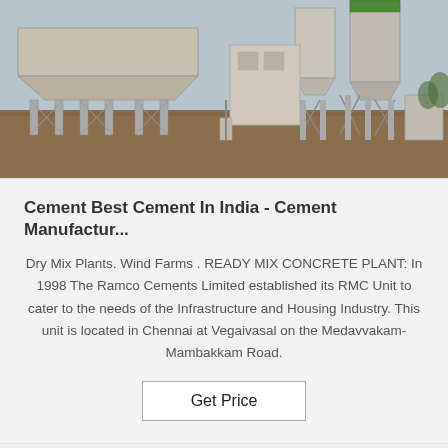[Figure (photo): Photograph of a concrete batching plant / ready mix concrete plant with large aggregate bins and silos on a dirt ground, overcast sky background.]
Cement Best Cement In India - Cement Manufactur...
Dry Mix Plants. Wind Farms . READY MIX CONCRETE PLANT: In 1998 The Ramco Cements Limited established its RMC Unit to cater to the needs of the Infrastructure and Housing Industry. This unit is located in Chennai at Vegaivasal on the Medavvakam-Mambakkam Road.
Get Price
[Figure (photo): Partial view of an orange/red piece of construction or industrial equipment, partially cropped at the bottom of the page.]